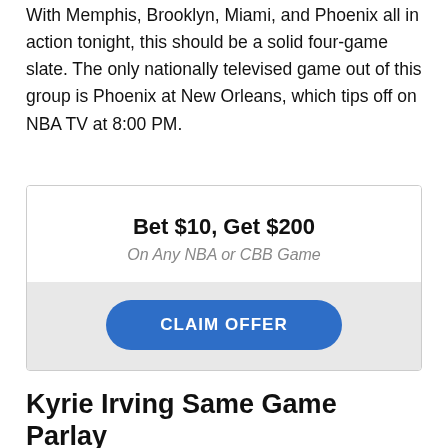With Memphis, Brooklyn, Miami, and Phoenix all in action tonight, this should be a solid four-game slate. The only nationally televised game out of this group is Phoenix at New Orleans, which tips off on NBA TV at 8:00 PM.
[Figure (other): Advertisement box: 'Bet $10, Get $200 On Any NBA or CBB Game' with a blue CLAIM OFFER button]
Kyrie Irving Same Game Parlay
2+ Made Three Pointers/1+ Steals/Over 4.5 Assists (+115 at DraftKings)
Kyrie has made at least 2 threes in 10 straight games and has 23 attempts from deep over his last 2 games